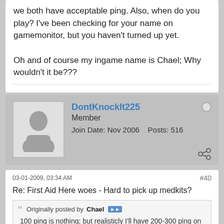we both have acceptable ping. Also, when do you play? I've been checking for your name on gamemonitor, but you haven't turned up yet.

Oh and of course my ingame name is Chael; Why wouldn't it be???
DontKnockIt225
Member
Join Date: Nov 2006    Posts: 516
03-01-2009, 03:34 AM
#40
Re: First Aid Here woes - Hard to pick up medkits?
Originally posted by Chael
100 ping is nothing; but realisticly I'll have 200-300 ping on your server. If I absolutely can't play on your server